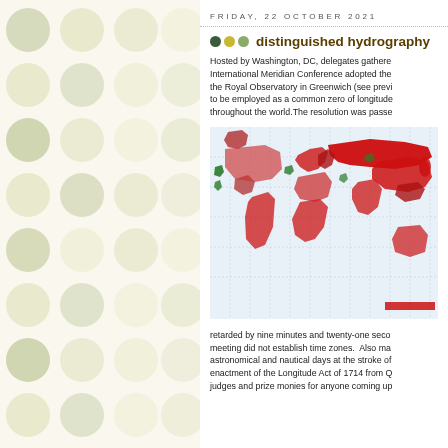[Figure (illustration): Grid of pale green and yellow-beige circles on a cream background forming a decorative left panel]
FRIDAY, 22 OCTOBER 2021
distinguished hydrography
Hosted by Washington, DC, delegates gathered. International Meridian Conference adopted the the Royal Observatory in Greenwich (see previ to be employed as a common zero of longitude throughout the world.The resolution was passe
[Figure (map): World map with countries colored in red and green shading, showing time zones or some geographic distribution. Legend bar visible at bottom right.]
retarded by nine minutes and twenty-one seco meeting did not establish time zones. Also ma astronomical and nautical days at the stroke of enactment of the Longitude Act of 1714 from Q judges and prize monies for anyone coming up